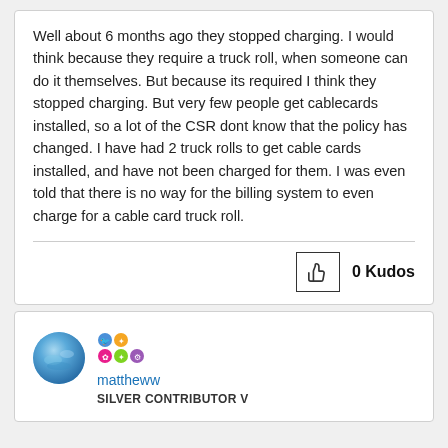Well about 6 months ago they stopped charging. I would think because they require a truck roll, when someone can do it themselves. But because its required I think they stopped charging. But very few people get cablecards installed, so a lot of the CSR dont know that the policy has changed. I have had 2 truck rolls to get cable cards installed, and have not been charged for them. I was even told that there is no way for the billing system to even charge for a cable card truck roll.
0 Kudos
[Figure (illustration): User avatar for mattheww - blue circular avatar]
mattheww
SILVER CONTRIBUTOR V